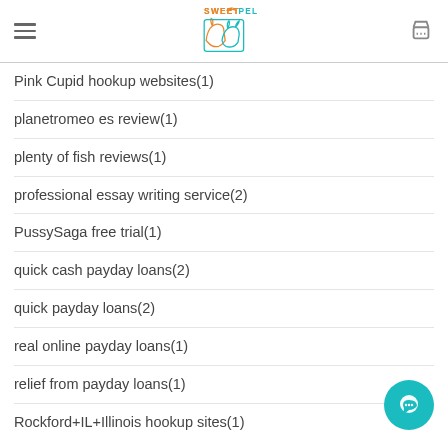SweetPel logo with hamburger menu and cart icon
Pink Cupid hookup websites(1)
planetromeo es review(1)
plenty of fish reviews(1)
professional essay writing service(2)
PussySaga free trial(1)
quick cash payday loans(2)
quick payday loans(2)
real online payday loans(1)
relief from payday loans(1)
Rockford+IL+Illinois hookup sites(1)